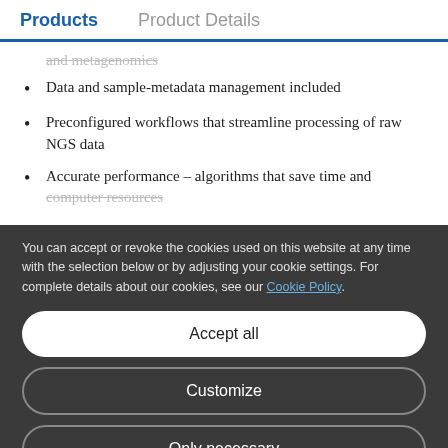Products   Product Details
and metagenomics
Data and sample-metadata management included
Preconfigured workflows that streamline processing of raw NGS data
Accurate performance – algorithms that save time and computer resources
You can accept or revoke the cookies used on this website at any time with the selection below or by adjusting your cookie settings. For complete details about our cookies, see our Cookie Policy.
Accept all
Customize
Only necessary